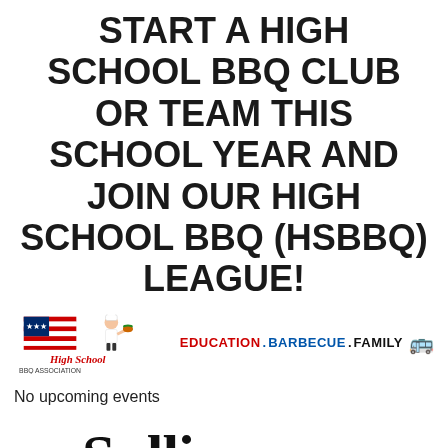START A HIGH SCHOOL BBQ CLUB OR TEAM THIS SCHOOL YEAR AND JOIN OUR HIGH SCHOOL BBQ (HSBBQ) LEAGUE!
[Figure (logo): National High School BBQ Association logo with cartoon mascot and 'EDUCATION.BARBECUE.FAMILY' tagline with school bus emoji]
No upcoming events
[Figure (logo): Sullivan University logo with teal flame/leaf graphic on the left and 'Sullivan University' text in bold serif font]